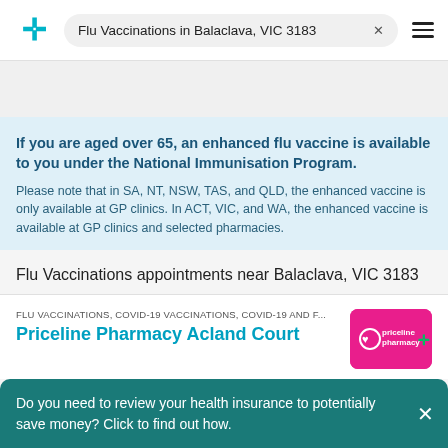Flu Vaccinations in Balaclava, VIC 3183
If you are aged over 65, an enhanced flu vaccine is available to you under the National Immunisation Program.
Please note that in SA, NT, NSW, TAS, and QLD, the enhanced vaccine is only available at GP clinics. In ACT, VIC, and WA, the enhanced vaccine is available at GP clinics and selected pharmacies.
Flu Vaccinations appointments near Balaclava, VIC 3183
FLU VACCINATIONS, COVID-19 VACCINATIONS, COVID-19 AND F...
Priceline Pharmacy Acland Court
Do you need to review your health insurance to potentially save money? Click to find out how.